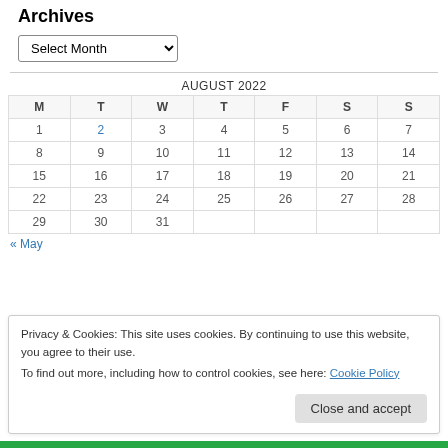Archives
Select Month
| M | T | W | T | F | S | S |
| --- | --- | --- | --- | --- | --- | --- |
| 1 | 2 | 3 | 4 | 5 | 6 | 7 |
| 8 | 9 | 10 | 11 | 12 | 13 | 14 |
| 15 | 16 | 17 | 18 | 19 | 20 | 21 |
| 22 | 23 | 24 | 25 | 26 | 27 | 28 |
| 29 | 30 | 31 |  |  |  |  |
« May
Privacy & Cookies: This site uses cookies. By continuing to use this website, you agree to their use.
To find out more, including how to control cookies, see here: Cookie Policy
Close and accept